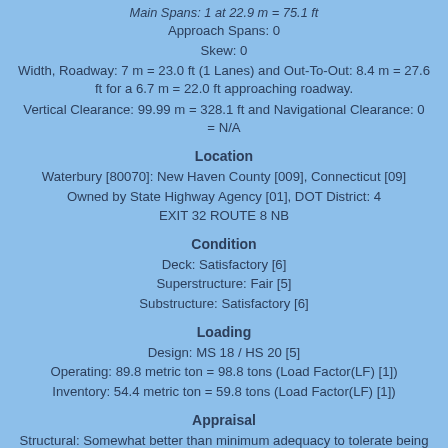Main Spans: 1 at 22.9 m = 75.1 ft
Approach Spans: 0
Skew: 0
Width, Roadway: 7 m = 23.0 ft (1 Lanes) and Out-To-Out: 8.4 m = 27.6 ft for a 6.7 m = 22.0 ft approaching roadway.
Vertical Clearance: 99.99 m = 328.1 ft and Navigational Clearance: 0 = N/A
Location
Waterbury [80070]: New Haven County [009], Connecticut [09]
Owned by State Highway Agency [01], DOT District: 4
EXIT 32 ROUTE 8 NB
Condition
Deck: Satisfactory [6]
Superstructure: Fair [5]
Substructure: Satisfactory [6]
Loading
Design: MS 18 / HS 20 [5]
Operating: 89.8 metric ton = 98.8 tons (Load Factor(LF) [1])
Inventory: 54.4 metric ton = 59.8 tons (Load Factor(LF) [1])
Appraisal
Structural: Somewhat better than minimum adequacy to tolerate being left in place as is [5]